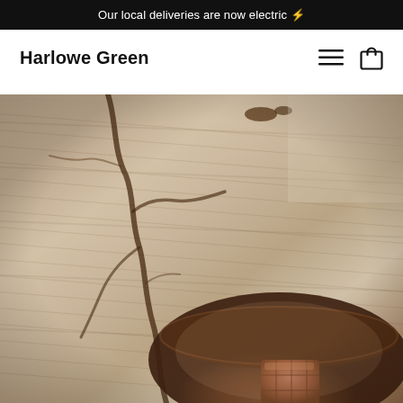Our local deliveries are now electric ⚡
Harlowe Green
[Figure (photo): Close-up overhead photo of a rustic cracked wooden surface with warm tan and brown tones, with a brown ceramic bowl and a piece of chocolate bar visible in the lower right corner.]